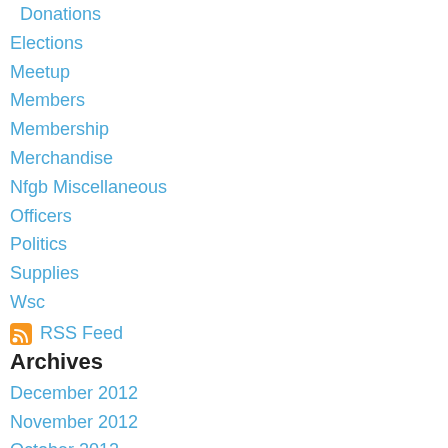Donations
Elections
Meetup
Members
Membership
Merchandise
Nfgb Miscellaneous
Officers
Politics
Supplies
Wsc
RSS Feed
Archives
December 2012
November 2012
October 2012
July 2012
June 2012
May 2012
March 2012